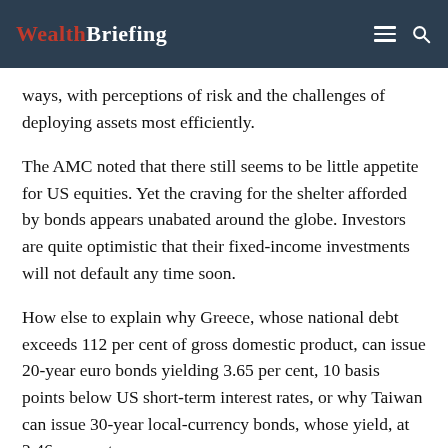WealthBriefing
ways, with perceptions of risk and the challenges of deploying assets most efficiently.
The AMC noted that there still seems to be little appetite for US equities. Yet the craving for the shelter afforded by bonds appears unabated around the globe. Investors are quite optimistic that their fixed-income investments will not default any time soon.
How else to explain why Greece, whose national debt exceeds 112 per cent of gross domestic product, can issue 20-year euro bonds yielding 3.65 per cent, 10 basis points below US short-term interest rates, or why Taiwan can issue 30-year local-currency bonds, whose yield, at 2.46 per cent